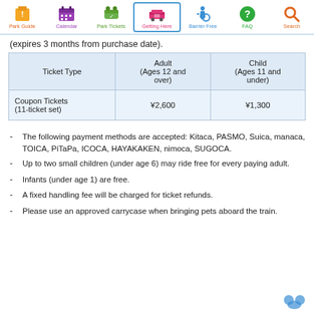Navigation: Park Guide | Calendar | Park Tickets | Getting Here | Barrier Free | FAQ | Search
(expires 3 months from purchase date).
| Ticket Type | Adult (Ages 12 and over) | Child (Ages 11 and under) |
| --- | --- | --- |
| Coupon Tickets (11-ticket set) | ¥2,600 | ¥1,300 |
The following payment methods are accepted: Kitaca, PASMO, Suica, manaca, TOICA, PiTaPa, ICOCA, HAYAKAKEN, nimoca, SUGOCA.
Up to two small children (under age 6) may ride free for every paying adult.
Infants (under age 1) are free.
A fixed handling fee will be charged for ticket refunds.
Please use an approved carrycase when bringing pets aboard the train.